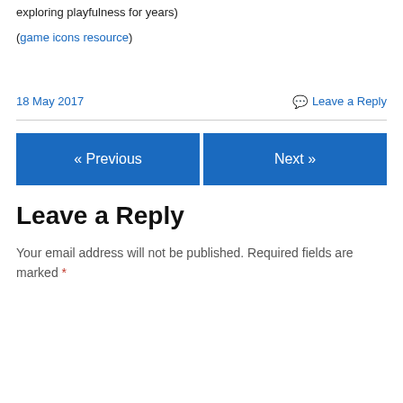exploring playfulness for years)
(game icons resource)
18 May 2017
💬 Leave a Reply
« Previous
Next »
Leave a Reply
Your email address will not be published. Required fields are marked *